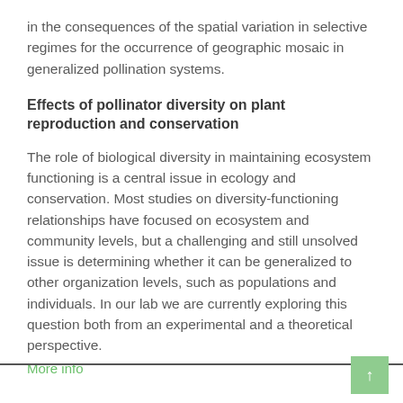in the consequences of the spatial variation in selective regimes for the occurrence of geographic mosaic in generalized pollination systems.
Effects of pollinator diversity on plant reproduction and conservation
The role of biological diversity in maintaining ecosystem functioning is a central issue in ecology and conservation. Most studies on diversity-functioning relationships have focused on ecosystem and community levels, but a challenging and still unsolved issue is determining whether it can be generalized to other organization levels, such as populations and individuals. In our lab we are currently exploring this question both from an experimental and a theoretical perspective.
More info